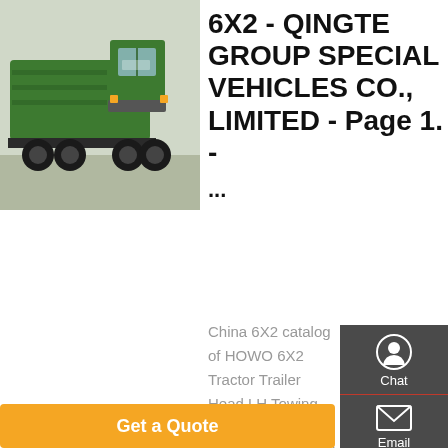[Figure (photo): Green HOWO 6X2 tractor truck / special vehicle parked outdoors]
6X2 - QINGTE GROUP SPECIAL VEHICLES CO., LIMITED - Page 1. - ...
China 6X2 catalog of HOWO 6X2 Tractor Trailer Head LH Towing Truck, Sinotruk HOWO 6X2 336pH Tractor Truck provided by China manufacturer - QINGTE GROUP SPECIAL VEHICLES CO., LIMITED, page1. Truck, Used Truck, Trailer manufacturer / supplier in
[Figure (infographic): Dark sidebar with Chat, Email, Contact, and Top navigation icons]
Get a Quote